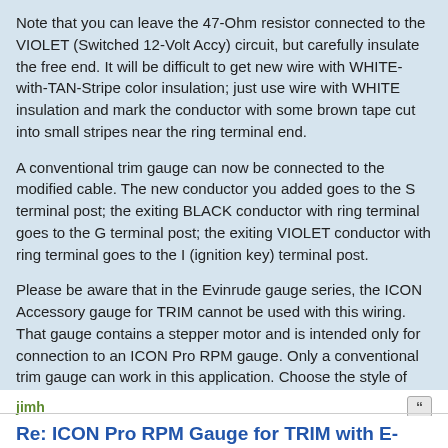Note that you can leave the 47-Ohm resistor connected to the VIOLET (Switched 12-Volt Accy) circuit, but carefully insulate the free end. It will be difficult to get new wire with WHITE-with-TAN-Stripe color insulation; just use wire with WHITE insulation and mark the conductor with some brown tape cut into small stripes near the ring terminal end.
A conventional trim gauge can now be connected to the modified cable. The new conductor you added goes to the S terminal post; the exiting BLACK conductor with ring terminal goes to the G terminal post; the exiting VIOLET conductor with ring terminal goes to the I (ignition key) terminal post.
Please be aware that in the Evinrude gauge series, the ICON Accessory gauge for TRIM cannot be used with this wiring. That gauge contains a stepper motor and is intended only for connection to an ICON Pro RPM gauge. Only a conventional trim gauge can work in this application. Choose the style of the gauge to match other devices on your helm panel.
jimh
Re: ICON Pro RPM Gauge for TRIM with E-TEC 90
Mon Jan 08, 2018 8:16 am
If an ICON Pro RPM gauge is used, you can read the engine trim on the